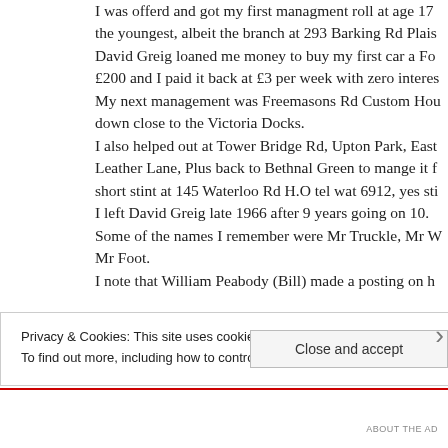I was offerd and got my first managment roll at age 17 the youngest, albeit the branch at 293 Barking Rd Plais David Greig loaned me money to buy my first car a Fo £200 and I paid it back at £3 per week with zero interes My next management was Freemasons Rd Custom Hou down close to the Victoria Docks. I also helped out at Tower Bridge Rd, Upton Park, East Leather Lane, Plus back to Bethnal Green to mange it f short stint at 145 Waterloo Rd H.O tel wat 6912, yes sti I left David Greig late 1966 after 9 years going on 10. Some of the names I remember were Mr Truckle, Mr W Mr Foot. I note that William Peabody (Bill) made a posting on h
Privacy & Cookies: This site uses cookies. By continuing to use this website, you agree to their use. To find out more, including how to control cookies, see here: Cookie Policy
Close and accept